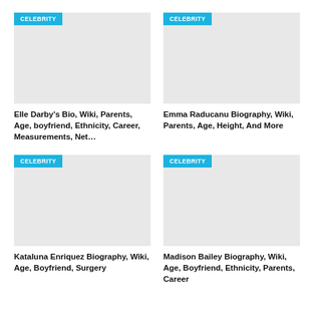[Figure (photo): Placeholder image for Elle Darby article with CELEBRITY tag]
[Figure (photo): Placeholder image for Emma Raducanu article with CELEBRITY tag]
Elle Darby's Bio, Wiki, Parents, Age, boyfriend, Ethnicity, Career, Measurements, Net…
Emma Raducanu Biography, Wiki, Parents, Age, Height, And More
[Figure (photo): Placeholder image for Kataluna Enriquez article with CELEBRITY tag]
[Figure (photo): Placeholder image for Madison Bailey article with CELEBRITY tag]
Kataluna Enriquez Biography, Wiki, Age, Boyfriend, Surgery
Madison Bailey Biography, Wiki, Age, Boyfriend, Ethnicity, Parents, Career